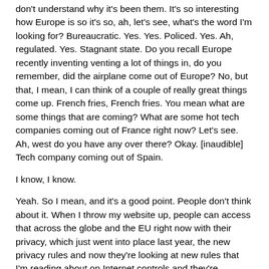don't understand why it's been them. It's so interesting how Europe is so it's so, ah, let's see, what's the word I'm looking for? Bureaucratic. Yes. Yes. Policed. Yes. Ah, regulated. Yes. Stagnant state. Do you recall Europe recently inventing venting a lot of things in, do you remember, did the airplane come out of Europe? No, but that, I mean, I can think of a couple of really great things come up. French fries, French fries. You mean what are some things that are coming? What are some hot tech companies coming out of France right now? Let's see. Ah, west do you have any over there? Okay. [inaudible] Tech company coming out of Spain.
I know, I know.
Yeah. So I mean, and it's a good point. People don't think about it. When I throw my website up, people can access that across the globe and the EU right now with their privacy, which just went into place last year, the new privacy rules and now they're looking at new rules that I'm reading about on Internet controls and they're copyright and intellectual property protections that